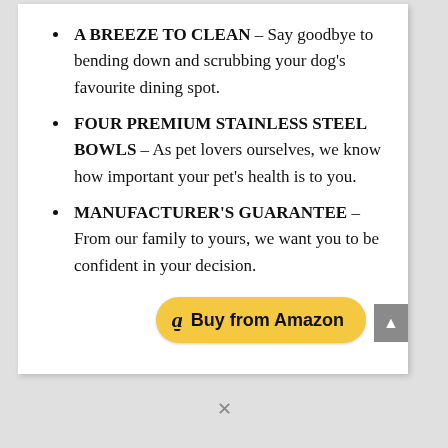A BREEZE TO CLEAN – Say goodbye to bending down and scrubbing your dog's favourite dining spot.
FOUR PREMIUM STAINLESS STEEL BOWLS – As pet lovers ourselves, we know how important your pet's health is to you.
MANUFACTURER'S GUARANTEE – From our family to yours, we want you to be confident in your decision.
[Figure (other): Amazon Buy button with Amazon logo and text 'Buy from Amazon' in golden rounded rectangle]